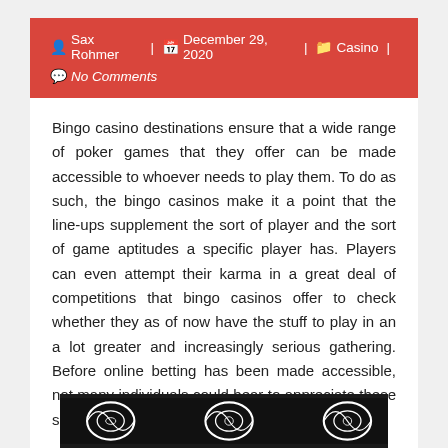Sax Rohmer | December 29, 2020 | Casino | No Comments
Bingo casino destinations ensure that a wide range of poker games that they offer can be made accessible to whoever needs to play them. To do as such, the bingo casinos make it a point that the line-ups supplement the sort of player and the sort of game aptitudes a specific player has. Players can even attempt their karma in a great deal of competitions that bingo casinos offer to check whether they as of now have the stuff to play in an a lot greater and increasingly serious gathering. Before online betting has been made accessible, not many individuals could bear to appreciate these sorts of advantages that online bingo casinos give.
[Figure (photo): Decorative black and white casino/bingo themed image at the bottom of the page]